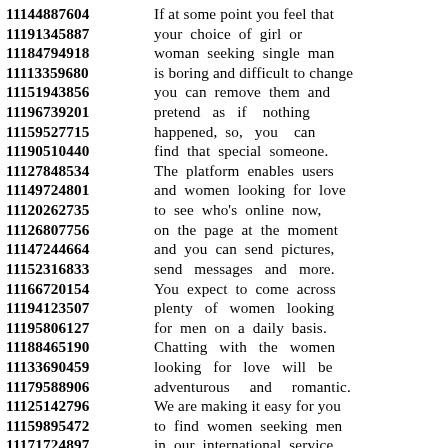11144887604 If at some point you feel that
11191345887 your choice of girl or
11184794918 woman seeking single man
11113359680 is boring and difficult to change
11151943856 you can remove them and
11196739201 pretend as if nothing
11159527715 happened, so, you can
11190510440 find that special someone.
11127848534 The platform enables users
11149724801 and women looking for love
11120262735 to see who's online now,
11126807756 on the page at the moment
11147244664 and you can send pictures,
11152316833 send messages and more.
11166720154 You expect to come across
11194123507 plenty of women looking
11195806127 for men on a daily basis.
11188465190 Chatting with the women
11133690459 looking for love will be
11179588906 adventurous and romantic.
11125142796 We are making it easy for you
11159895472 to find women seeking men
11171724897 in our international service.
11120818394 From the list of profiles
11122781982 available you can be sure